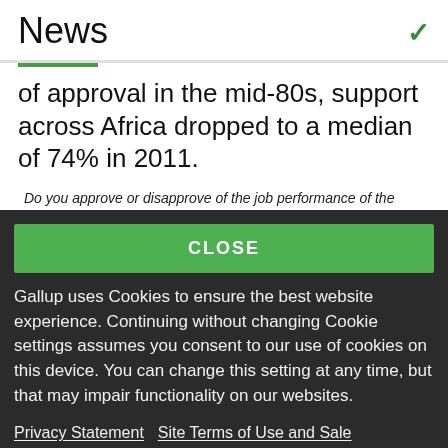News
of approval in the mid-80s, support across Africa dropped to a median of 74% in 2011.
Do you approve or disapprove of the job performance of the leadership of the United States?
Africa medians
CLOSE
Gallup uses Cookies to ensure the best website experience. Continuing without changing Cookie settings assumes you consent to our use of cookies on this device. You can change this setting at any time, but that may impair functionality on our websites.
Privacy Statement   Site Terms of Use and Sale
Product Terms of Use   Adjust your cookie settings.